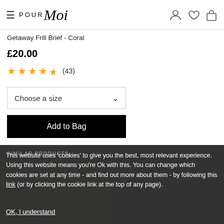Pour Moi — navigation header with hamburger menu, logo, user/wishlist/bag icons
Getaway Frill Brief - Coral
£20.00
★★★★½ (43)
Choose a size
Add to Bag
SIMILAR PRODUCTS...
This website uses 'cookies' to give you the best, most relevant experience. Using this website means you're Ok with this. You can change which cookies are set at any time - and find out more about them - by following this link (or by clicking the cookie link at the top of any page).
OK, I understand